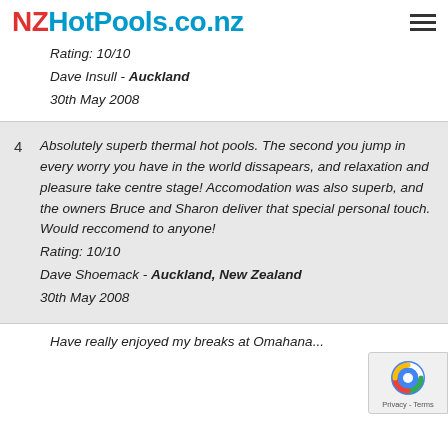NZHotPools.co.nz
Rating: 10/10
Dave Insull - Auckland
30th May 2008
4  Absolutely superb thermal hot pools. The second you jump in every worry you have in the world dissapears, and relaxation and pleasure take centre stage! Accomodation was also superb, and the owners Bruce and Sharon deliver that special personal touch. Would reccomend to anyone!
Rating: 10/10
Dave Shoemack - Auckland, New Zealand
30th May 2008
Have really enjoyed my breaks at Omahana...